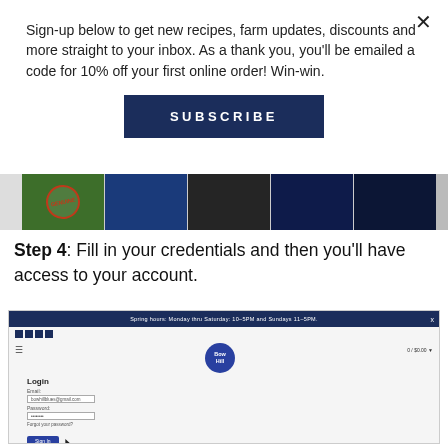Sign-up below to get new recipes, farm updates, discounts and more straight to your inbox. As a thank you, you'll be emailed a code for 10% off your first online order! Win-win.
[Figure (other): Dark blue Subscribe button with letter-spaced white uppercase text]
[Figure (photo): Horizontal strip of website thumbnails including a Genuine stamp on green background and several dark blue product/website images]
Step 4: Fill in your credentials and then you'll have access to your account.
[Figure (screenshot): Screenshot of Bow Hill website login page showing top navigation bar with Spring hours notice, social icons, hamburger menu, Bow Hill blueberry logo, shopping cart, and a Login form with Email and Password fields, Forgot your password? link, and Sign In button with cursor]